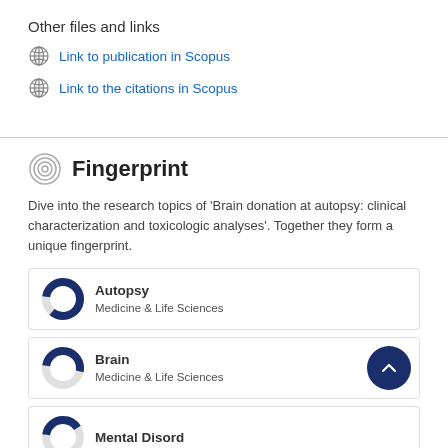Other files and links
Link to publication in Scopus
Link to the citations in Scopus
Fingerprint
Dive into the research topics of 'Brain donation at autopsy: clinical characterization and toxicologic analyses'. Together they form a unique fingerprint.
Autopsy
Medicine & Life Sciences
Brain
Medicine & Life Sciences
Mental Disorder